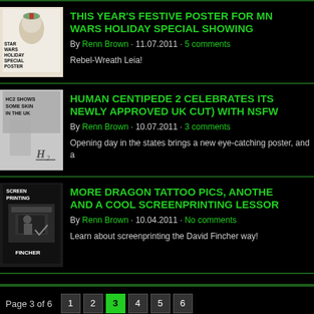[Figure (illustration): Star Wars Holiday Special Poster thumbnail - white/grey illustrated image with text overlay]
THIS YEAR'S FESTIVE POSTER FOR MN WARS HOLIDAY SPECIAL SHOWING
By Renn Brown · 11.07.2011 · 5 comments
Rebel-Wreath Leia!
[Figure (illustration): HC2 Shows Some Skin in the UK thumbnail - grey image with H2 logo]
HUMAN CENTIPEDE 2 CELEBRATES ITS NEWLY APPROVED UK CUT) WITH NSFW
By Renn Brown · 10.07.2011 · 3 comments
Opening day in the states brings a new eye-catching poster, and a
[Figure (photo): Screen Printing / Fincher thumbnail - dark image of printing press]
MORE DRAGON TATTOO PICS, ANOTHE AND A COOL SCREENPRINTING LESSOR
By Renn Brown · 10.04.2011 · No comments
Learn about screenprinting the David Fincher way!
Page 3 of 6  1 2 3 4 5 6